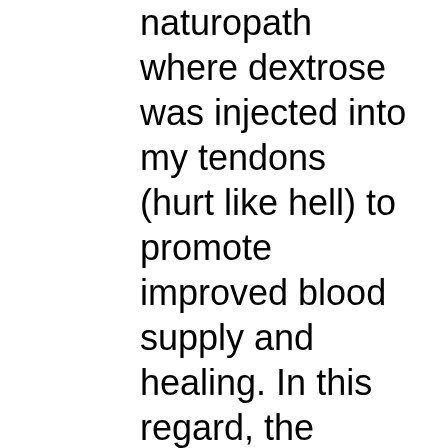naturopath where dextrose was injected into my tendons (hurt like hell) to promote improved blood supply and healing. In this regard, the prolotherapy was very effective, although I still had to follow up with more than a year of intense physiotherapy. There is still some residual pain in my right shoulder and a tendency for the femur to sit outside of its socket, but for all